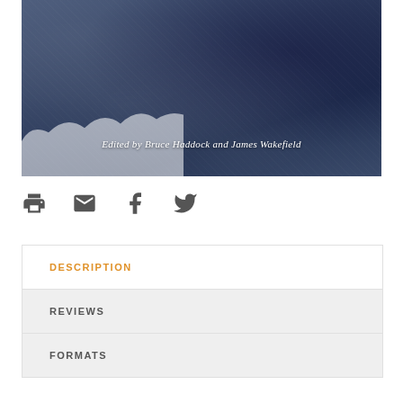[Figure (illustration): Book cover with dark blue textured background, showing text 'Edited by Bruce Haddock and James Wakefield' in italic white serif font near the bottom center, with a white cloudy/snow overlay at the bottom left.]
[Figure (infographic): Row of four social/share icons: printer icon, email/envelope icon, Facebook 'f' icon, and Twitter bird icon, all in dark gray.]
DESCRIPTION
REVIEWS
FORMATS